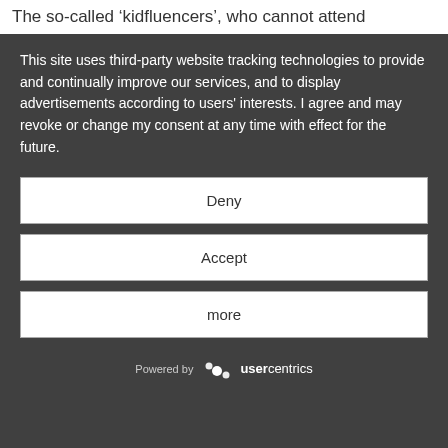promovierterPapa BMO Advent calendar 2020
The so-called ‘kidfluencers’, who cannot attend
This site uses third-party website tracking technologies to provide and continually improve our services, and to display advertisements according to users' interests. I agree and may revoke or change my consent at any time with effect for the future.
Deny
Accept
more
Powered by usercentrics